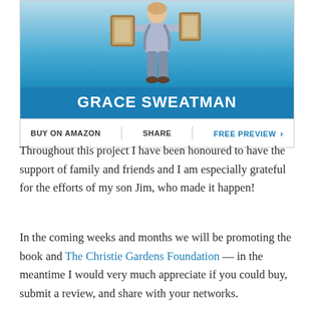[Figure (illustration): Book cover for Grace Sweatman showing a person carrying picture frames against a blue sky background, with the author name 'GRACE SWEATMAN' in large white bold text on a blue banner]
BUY ON AMAZON | SHARE | FREE PREVIEW >
Throughout this project I have been honoured to have the support of family and friends and I am especially grateful for the efforts of my son Jim, who made it happen!
In the coming weeks and months we will be promoting the book and The Christie Gardens Foundation — in the meantime I would very much appreciate if you could buy, submit a review, and share with your networks.